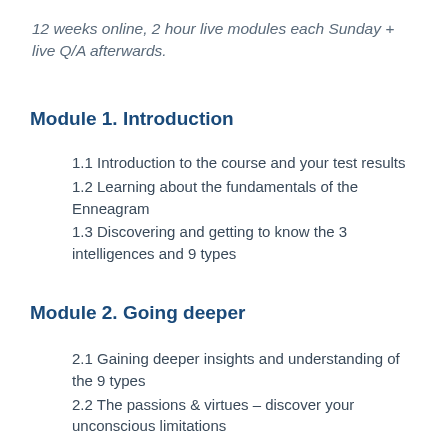12 weeks online, 2 hour live modules each Sunday + live Q/A afterwards.
Module 1. Introduction
1.1 Introduction to the course and your test results
1.2 Learning about the fundamentals of the Enneagram
1.3 Discovering and getting to know the 3 intelligences and 9 types
Module 2. Going deeper
2.1 Gaining deeper insights and understanding of the 9 types
2.2 The passions & virtues – discover your unconscious limitations